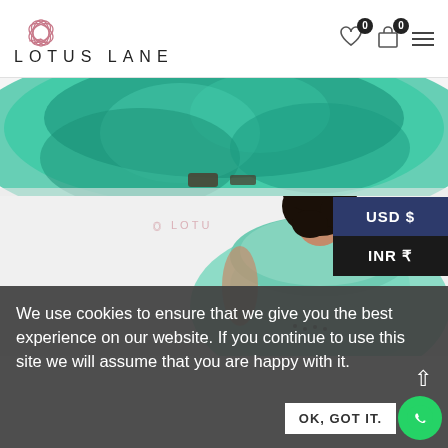LOTUS LANE
[Figure (photo): Bottom half of a teal/green flowy dress with black sandals on a white background]
[Figure (photo): Back view of a woman with dark hair wearing a teal green dress, Lotus Lane watermark visible]
USD $
INR ₹
We use cookies to ensure that we give you the best experience on our website. If you continue to use this site we will assume that you are happy with it.
OK, GOT IT.